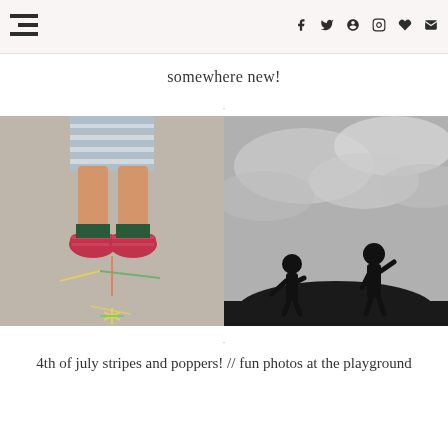navigation and social icons header
somewhere new!
[Figure (photo): Two side-by-side photos: left photo shows a child's feet wearing red striped sneakers standing on pavement with chalk drawings; right photo is a black and white image of two children silhouetted against a dramatic cloudy sky]
4th of july stripes and poppers! // fun photos at the playground